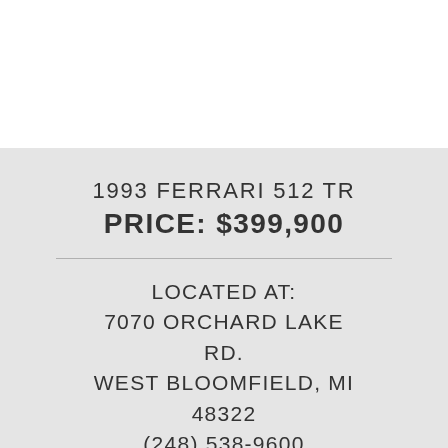1993 FERRARI 512 TR
PRICE: $399,900
LOCATED AT:
7070 ORCHARD LAKE RD.
WEST BLOOMFIELD, MI 48322
(248) 538-9600